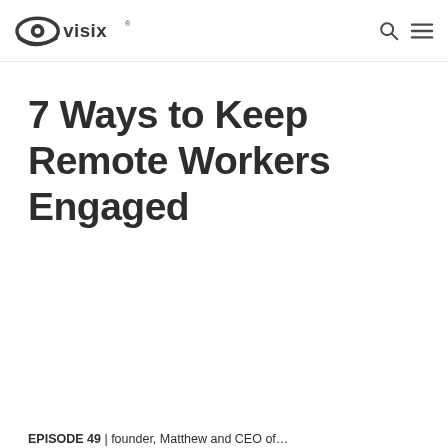Visix logo, search icon, menu icon
7 Ways to Keep Remote Workers Engaged
EPISODE 49 | founder, Matthew and CEO of...